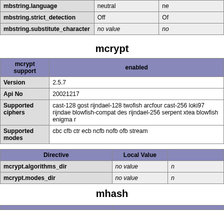|  | Local Value | Master Value |
| --- | --- | --- |
| mbstring.language | neutral | neutral |
| mbstring.strict_detection | Off | Off |
| mbstring.substitute_character | no value | no value |
mcrypt
| mcrypt support | enabled |
| --- | --- |
| Version | 2.5.7 |
| Api No | 20021217 |
| Supported ciphers | cast-128 gost rijndael-128 twofish arcfour cast-256 loki97 rijndael-192 saferplus wake blowfish-compat des rijndael-256 serpent xtea blowfish enigma rc2 tripledes |
| Supported modes | cbc cfb ctr ecb ncfb nofb ofb stream |
| Directive | Local Value | Master Value |
| --- | --- | --- |
| mcrypt.algorithms_dir | no value | no value |
| mcrypt.modes_dir | no value | no value |
mhash
| mhash support | enabled |
| --- | --- |